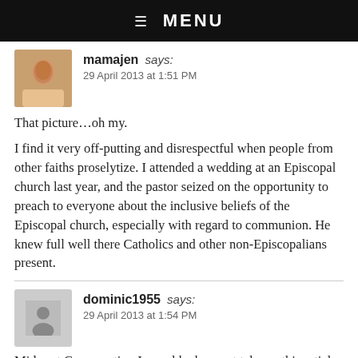☰ MENU
mamajen says:
29 April 2013 at 1:51 PM
That picture…oh my.
I find it very off-putting and disrespectful when people from other faiths proselytize. I attended a wedding at an Episcopal church last year, and the pastor seized on the opportunity to preach to everyone about the inclusive beliefs of the Episcopal church, especially with regard to communion. He knew full well there Catholics and other non-Episcopalians present.
dominic1955 says:
29 April 2013 at 1:54 PM
Midwest Conservative Journal had a great take on this article